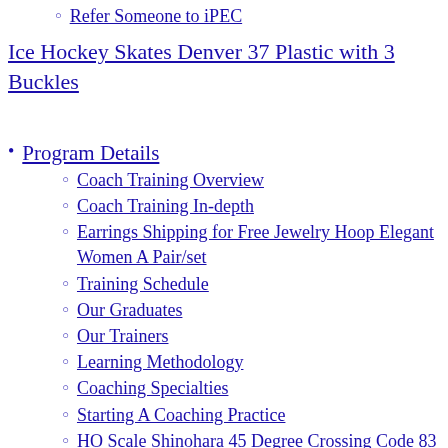Refer Someone to iPEC
Ice Hockey Skates Denver 37 Plastic with 3 Buckles
Program Details
Coach Training Overview
Coach Training In-depth
Earrings Shipping for Free Jewelry Hoop Elegant Women A Pair/set
Training Schedule
Our Graduates
Our Trainers
Learning Methodology
Coaching Specialties
Starting A Coaching Practice
HO Scale Shinohara 45 Degree Crossing Code 83 Nickel Silver
Sanskriti Vintage Dupatta Long Stole Pure Cotton Kalamkari & Pai
Certifications
Certifications Overview
Life Coaching...